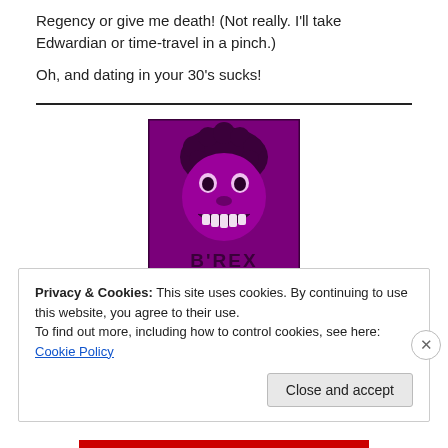Regency or give me death!  (Not really. I'll take Edwardian or time-travel in a pinch.)
Oh, and dating in your 30's sucks!
[Figure (illustration): Purple-tinted square illustration of a cartoon dinosaur character with curly hair and a grin, labeled 'B'REX' at the bottom.]
Privacy & Cookies: This site uses cookies. By continuing to use this website, you agree to their use.
To find out more, including how to control cookies, see here: Cookie Policy
Close and accept